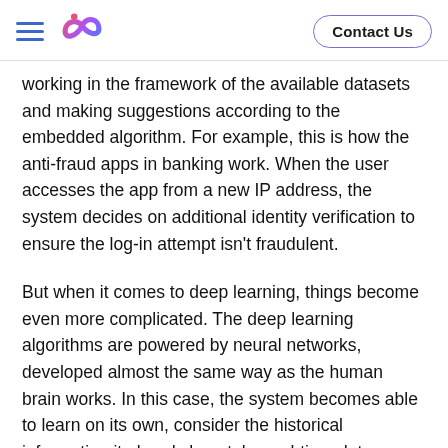[Logo] Contact Us
working in the framework of the available datasets and making suggestions according to the embedded algorithm. For example, this is how the anti-fraud apps in banking work. When the user accesses the app from a new IP address, the system decides on additional identity verification to ensure the log-in attempt isn't fraudulent.
But when it comes to deep learning, things become even more complicated. The deep learning algorithms are powered by neural networks, developed almost the same way as the human brain works. In this case, the system becomes able to learn on its own, consider the historical information it already has, take real-time data